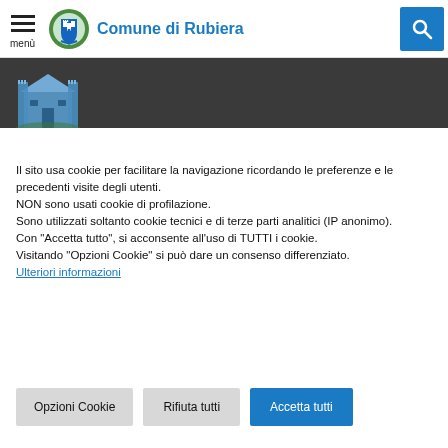menù | Comune di Rubiera
[Figure (logo): Comune di Rubiera municipal coat of arms logo with castle and green wreath]
[Figure (illustration): Dark banner with small building/town hall illustration at bottom left]
Il sito usa cookie per facilitare la navigazione ricordando le preferenze e le precedenti visite degli utenti.
NON sono usati cookie di profilazione.
Sono utilizzati soltanto cookie tecnici e di terze parti analitici (IP anonimo).
Con "Accetta tutto", si acconsente all'uso di TUTTI i cookie.
Visitando "Opzioni Cookie" si può dare un consenso differenziato.
Ulteriori informazioni
Opzioni Cookie
Rifiuta tutti
Accetta tutti